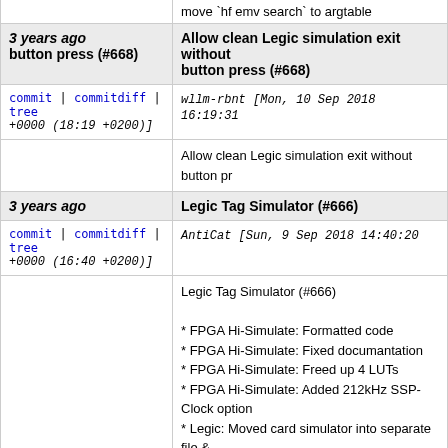move `hf emv search` to argtable
3 years ago  Allow clean Legic simulation exit without button press (#668)
commit | commitdiff | tree  wllm-rbnt [Mon, 10 Sep 2018 16:19:31 +0000 (18:19 +0200)]
Allow clean Legic simulation exit without button pr
3 years ago  Legic Tag Simulator (#666)
commit | commitdiff | tree  AntiCat [Sun, 9 Sep 2018 14:40:20 +0000 (16:40 +0200)]
Legic Tag Simulator (#666)

* FPGA Hi-Simulate: Formatted code
* FPGA Hi-Simulate: Fixed documantation
* FPGA Hi-Simulate: Freed up 4 LUTs
* FPGA Hi-Simulate: Added 212kHz SSP-Clock option
* Legic: Moved card simulator into separate file & Reader and card simulation have almost no comm uses an SSP Clock at 212kHz for all timings to pre the PRNG. This clock speed is not available in rea runs at up to 3.4MHz, and changes speed betwe reasons having the code in separate files makes it
* Legic: Implemented RX and TX for card simula